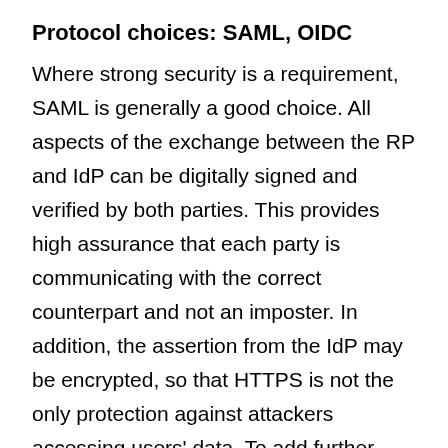Protocol choices: SAML, OIDC
Where strong security is a requirement, SAML is generally a good choice. All aspects of the exchange between the RP and IdP can be digitally signed and verified by both parties. This provides high assurance that each party is communicating with the correct counterpart and not an imposter. In addition, the assertion from the IdP may be encrypted, so that HTTPS is not the only protection against attackers accessing users' data. To add further security, signing and encryption keys may be rotated regularly.
To take OIDC to the same level of security requires extra cryptographic keys, as in Open